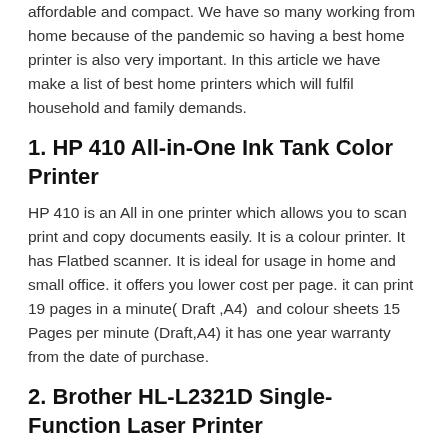affordable and compact. We have so many working from home because of the pandemic so having a best home printer is also very important. In this article we have make a list of best home printers which will fulfil household and family demands.
1. HP 410 All-in-One Ink Tank Color Printer
HP 410 is an All in one printer which allows you to scan print and copy documents easily. It is a colour printer. It has Flatbed scanner. It is ideal for usage in home and small office. it offers you lower cost per page. it can print 19 pages in a minute( Draft ,A4)  and colour sheets 15 Pages per minute (Draft,A4) it has one year warranty from the date of purchase.
2. Brother HL-L2321D Single-Function Laser Printer
This Brother HL-L2321D laser printer is a single function printer that offers monochrome printing facility. It supports auto duplex printing as well. It has duty cycle of 10000 pages monthly. It can print 30 Pages per Minute and support double sided printing. It supports page sizes A4, letter A5, A6 executive, Legal, folio,